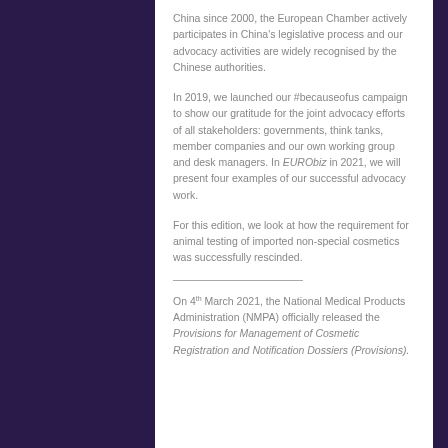China since 2000, the European Chamber actively participates in China's legislative process and our advocacy activities are widely recognised by the Chinese authorities.
In 2019, we launched our #becauseofus campaign to show our gratitude for the joint advocacy efforts of all stakeholders: governments, think tanks, member companies and our own working group and desk managers. In EURObiz in 2021, we will present four examples of our successful advocacy work.
For this edition, we look at how the requirement for animal testing of imported non-special cosmetics was successfully rescinded.
On 4th March 2021, the National Medical Products Administration (NMPA) officially released the Provisions for Management of Cosmetic Registration and Notification Dossiers (Provisions).